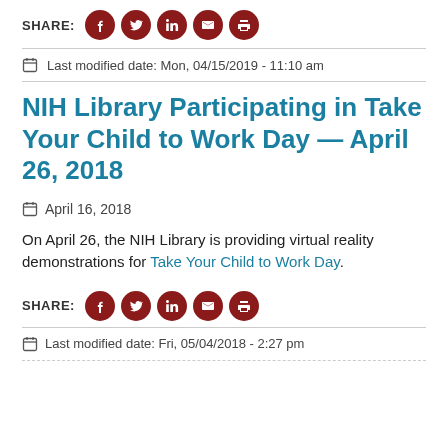SHARE: [facebook] [twitter] [linkedin] [email] [print]
Last modified date: Mon, 04/15/2019 - 11:10 am
NIH Library Participating in Take Your Child to Work Day — April 26, 2018
April 16, 2018
On April 26, the NIH Library is providing virtual reality demonstrations for Take Your Child to Work Day.
SHARE: [facebook] [twitter] [linkedin] [email] [print]
Last modified date: Fri, 05/04/2018 - 2:27 pm